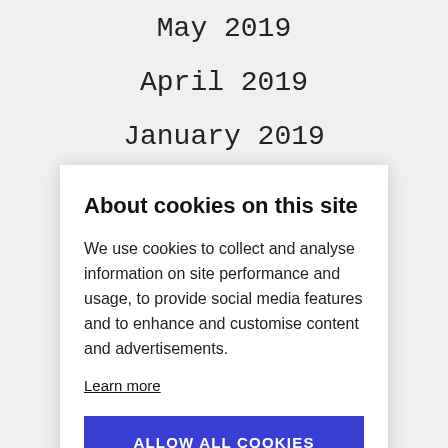May 2019
April 2019
January 2019
About cookies on this site
We use cookies to collect and analyse information on site performance and usage, to provide social media features and to enhance and customise content and advertisements.
Learn more
ALLOW ALL COOKIES
COOKIE SETTINGS
January 2019